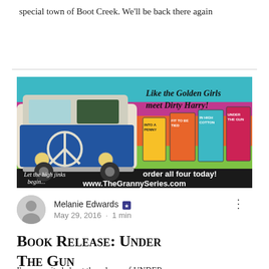special town of Boot Creek. We'll be back there again
[Figure (illustration): Colorful book series advertisement showing a VW bus with a peace sign, text 'Like the Golden Girls meet Dirty Harry!', four book covers (Into a Penny, Fit to Be Tied, In High Cotton, Under the Gun), text 'Let the high jinks begin...', 'order all four today!', and 'www.TheGrannySeries.com']
Melanie Edwards · May 29, 2016 · 1 min
Book Release: Under The Gun
I'm so excited about the release of UNDER